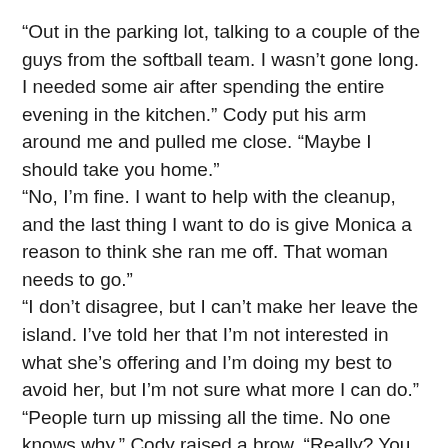“Out in the parking lot, talking to a couple of the guys from the softball team. I wasn’t gone long. I needed some air after spending the entire evening in the kitchen.” Cody put his arm around me and pulled me close. “Maybe I should take you home.”
“No, I’m fine. I want to help with the cleanup, and the last thing I want to do is give Monica a reason to think she ran me off. That woman needs to go.”
“I don’t disagree, but I can’t make her leave the island. I’ve told her that I’m not interested in what she’s offering and I’m doing my best to avoid her, but I’m not sure what more I can do.”
“People turn up missing all the time. No one knows why.” Cody raised a brow. “Really? You want me to dump her in the ocean?”
I shrugged. “I’ve had worse ideas.”